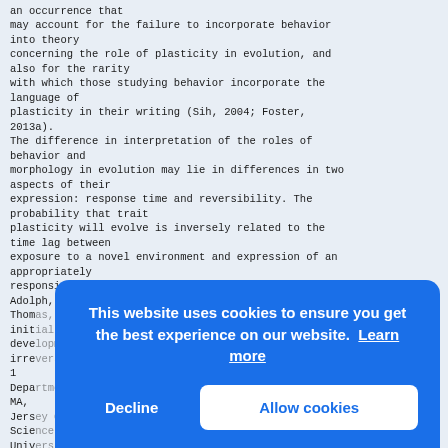an occurrence that may account for the failure to incorporate behavior into theory concerning the role of plasticity in evolution, and also for the rarity with which those studying behavior incorporate the language of plasticity in their writing (Sih, 2004; Foster, 2013a). The difference in interpretation of the roles of behavior and morphology in evolution may lie in differences in two aspects of their expression: response time and reversibility. The probability that trait plasticity will evolve is inversely related to the time lag between exposure to a novel environment and expression of an appropriately responsive character (Moran, 1992; Padilla and Adolph, 1996; Thom... init... deve... irre... 1 Depa... MA, Jers... Scie... Univ... Corr... Biology, Clark University, 950 Main St, Worcester, MA
[Figure (screenshot): Cookie consent overlay banner with blue background. Text reads 'This website uses cookies to ensure you get the best experience on our website. Learn more' with two buttons: 'Decline' and 'Allow cookies'.]